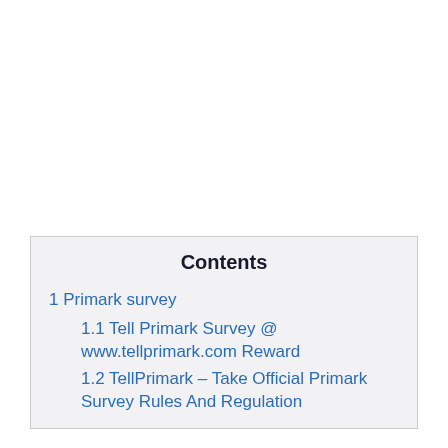| Contents |
| --- |
| 1 Primark survey |
| 1.1 Tell Primark Survey @ www.tellprimark.com Reward |
| 1.2 TellPrimark – Take Official Primark Survey Rules And Regulation |